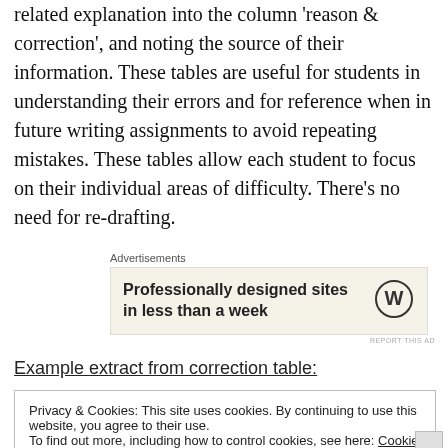related explanation into the column 'reason & correction', and noting the source of their information. These tables are useful for students in understanding their errors and for reference when in future writing assignments to avoid repeating mistakes. These tables allow each student to focus on their individual areas of difficulty. There's no need for re-drafting.
[Figure (other): Advertisement block with text 'Professionally designed sites in less than a week' and WordPress logo on cream/beige background, labeled 'Advertisements' above.]
Example extract from correction table:
Privacy & Cookies: This site uses cookies. By continuing to use this website, you agree to their use. To find out more, including how to control cookies, see here: Cookie Policy